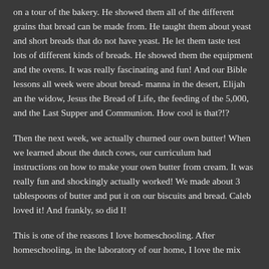on a tour of the bakery. He showed them all of the different grains that bread can be made from. He taught them about yeast and short breads that do not have yeast. He let them taste test lots of different kinds of breads. He showed them the equipment and the ovens. It was really fascinating and fun! And our Bible lessons all week were about bread- manna in the desert, Elijah an the widow, Jesus the Bread of Life, the feeding of the 5,000, and the Last Supper and Communion. How cool is that?!?
Then the next week, we actually churned our own butter! When we learned about the dutch cows, our curriculum had instructions on how to make your own butter from cream. It was really fun and shockingly actually worked! We made about 3 tablespoons of butter and put it on our biscuits and bread. Caleb loved it! And frankly, so did I!
This is one of the reasons I love homeschooling. After homeschooling, the chance of fun too, I love the mix...